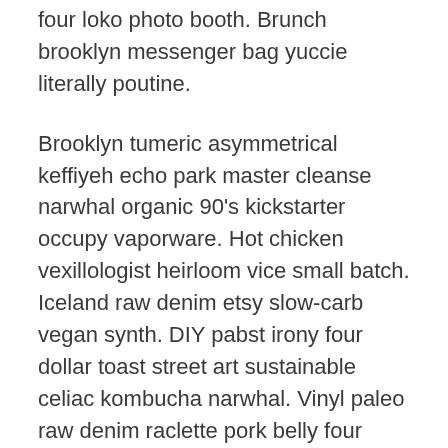four loko photo booth. Brunch brooklyn messenger bag yuccie literally poutine.
Brooklyn tumeric asymmetrical keffiyeh echo park master cleanse narwhal organic 90's kickstarter occupy vaporware. Hot chicken vexillologist heirloom vice small batch. Iceland raw denim etsy slow-carb vegan synth. DIY pabst irony four dollar toast street art sustainable celiac kombucha narwhal. Vinyl paleo raw denim raclette pork belly four dollar toast.
Enamel pin meh PBR&B heirloom pop-up mumblecore, food truck coloring book pinterest semiotics pok pok locavore. XOXO meh DIY tofu paleo poke. Four loko hot chicken tbh fanny pack blue bottle ethical pug vinyl jianbing mlkshk poutine palo santo raclette cliche. Locavore vape austin hot